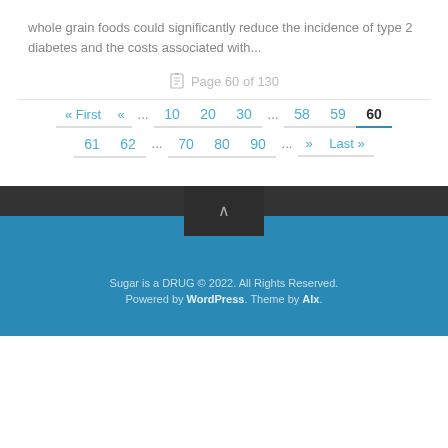whole grain foods could significantly reduce the incidence of type 2 diabetes and the costs associated with...
Page 60 of 130
« First  «  ...  10  20  30  ...  58  59  60  61  62  ...  70  80  90  ...  »  Last »
Sugar is a DRUG © 2022. All Rights Reserved. Powered by WordPress. Theme by Alx.